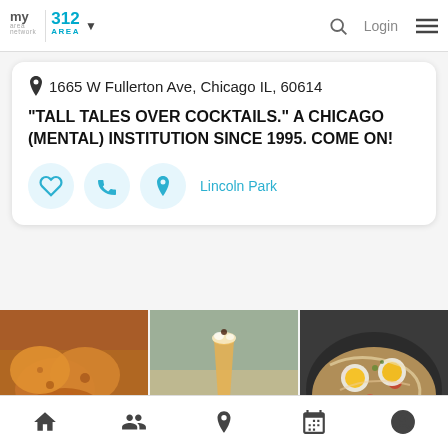myarea network | 312 AREA | Login
1665 W Fullerton Ave, Chicago IL, 60614
"TALL TALES OVER COCKTAILS." A CHICAGO (MENTAL) INSTITUTION SINCE 1995. COME ON!
Lincoln Park
[Figure (photo): Three food/drink photos: fried chicken pieces, a beer cocktail in a glass, and eggs on flatbread with toppings]
Bottom navigation: Home, People, Location, Calendar, Profile